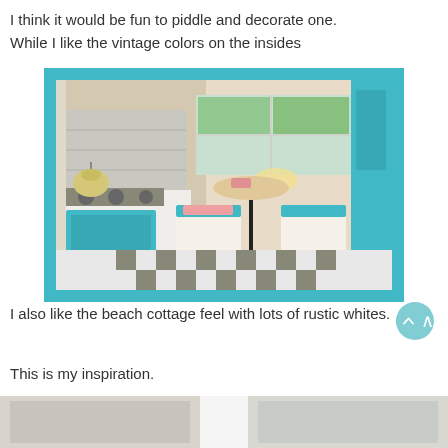I think it would be fun to piddle and decorate one.
While I like the vintage colors on the insides
[Figure (photo): Interior of a vintage retro-styled camper or trailer with teal/turquoise accents, checkered black-and-white floor, diner-style booth seating with teal cushions, small round table, stove with kettle, and windows with natural light. Framed by a teal border.]
I also like the beach cottage feel with lots of rustic whites.
This is my inspiration.
[Figure (photo): Partially visible photo at the bottom of the page showing what appears to be a white/rustic cottage interior.]